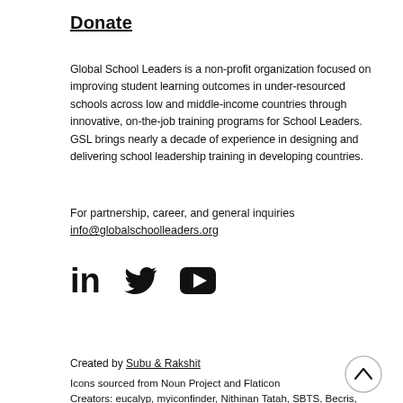Donate
Global School Leaders is a non-profit organization focused on improving student learning outcomes in under-resourced schools across low and middle-income countries through innovative, on-the-job training programs for School Leaders. GSL brings nearly a decade of experience in designing and delivering school leadership training in developing countries.
For partnership, career, and general inquiries info@globalschoolleaders.org
[Figure (infographic): Social media icons: LinkedIn, Twitter, YouTube]
Created by Subu & Rakshit
Icons sourced from Noun Project and Flaticon Creators: eucalyp, myiconfinder, Nithinan Tatah, SBTS, Becris, Ladalle CS, Priyanka, Vectors Market